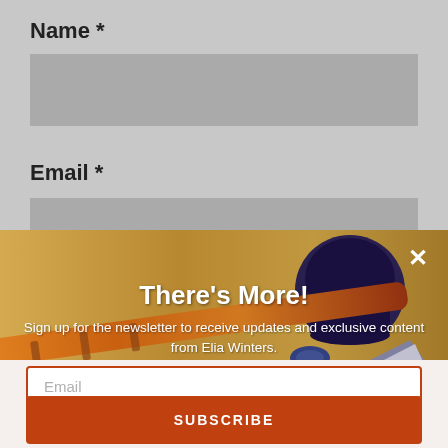Name *
Email *
[Figure (photo): A decorative calligraphy pen with orange/amber shaft resting near a dark ink bottle on a wooden surface, serving as background for a newsletter signup popup overlay.]
There's More!
Sign up for the newsletter to receive updates and exclusive content from Elia Winters.
We promise not to overwhelm your inbox.
Email
SUBSCRIBE